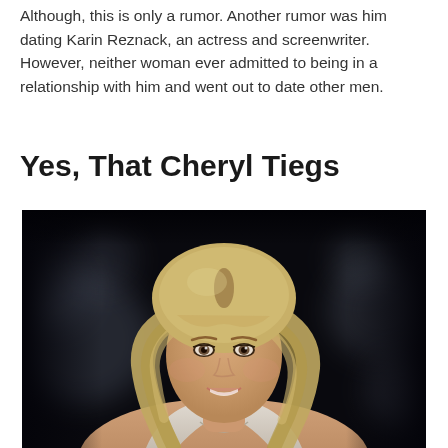Although, this is only a rumor. Another rumor was him dating Karin Reznack, an actress and screenwriter. However, neither woman ever admitted to being in a relationship with him and went out to date other men.
Yes, That Cheryl Tiegs
[Figure (photo): Photo of a blonde woman with feathered hair smiling, wearing a light-colored top, with a blurred dark background.]